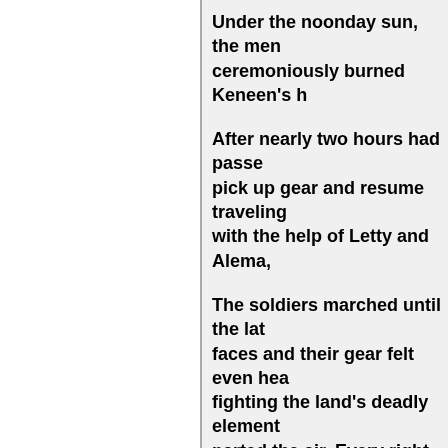Under the noonday sun, the men ceremoniously burned Keneen's h
After nearly two hours had passe pick up gear and resume traveling with the help of Letty and Alema,
The soldiers marched until the lat faces and their gear felt even hea fighting the land's deadly element parted the air. Every right foot hit
They had finally reached a large p nothing but dirt. It was in the ope Bundles of straw were spread out with thick bedding and wool cove settled, a white paste was slappe spread over their skin to protect t
"Ugh! This stinks," a soldier comp
"Ha! imagine how it must smell to
"Do they expect us to actually sle asked, looking about.